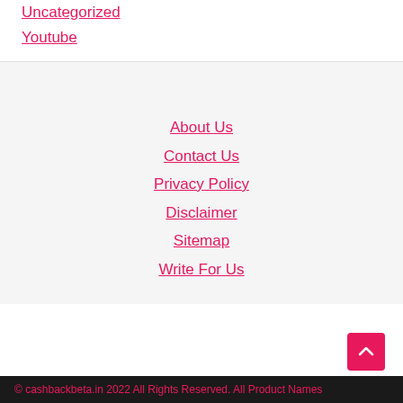Uncategorized
Youtube
About Us
Contact Us
Privacy Policy
Disclaimer
Sitemap
Write For Us
© cashbackbeta.in 2022 All Rights Reserved. All Product Names